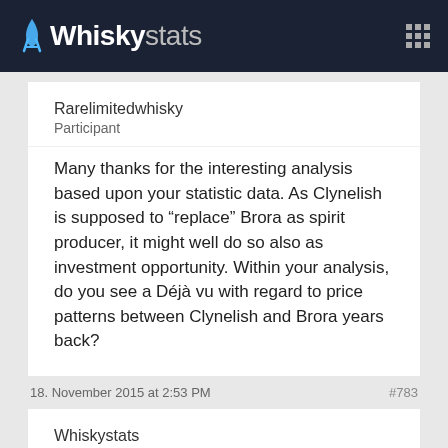Whiskystats
Rarelimitedwhisky
Participant
Many thanks for the interesting analysis based upon your statistic data. As Clynelish is supposed to "replace" Brora as spirit producer, it might well do so also as investment opportunity. Within your analysis, do you see a Déjà vu with regard to price patterns between Clynelish and Brora years back?
18. November 2015 at 2:53 PM
#783
Whiskystats
Keymaster
Hi Rarelimitedwhisky and thanks for your comment! A